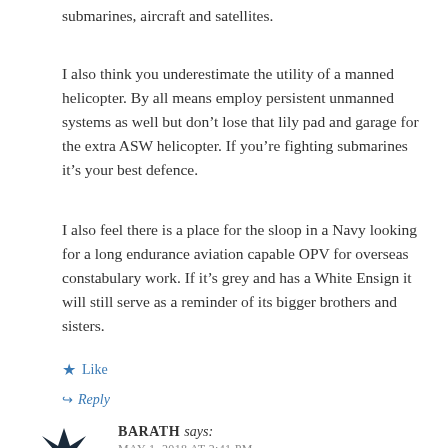submarines, aircraft and satellites.
I also think you underestimate the utility of a manned helicopter. By all means employ persistent unmanned systems as well but don’t lose that lily pad and garage for the extra ASW helicopter. If you’re fighting submarines it’s your best defence.
I also feel there is a place for the sloop in a Navy looking for a long endurance aviation capable OPV for overseas constabulary work. If it’s grey and has a White Ensign it will still serve as a reminder of its bigger brothers and sisters.
★ Like
➜ Reply
BARATH says: MAY 1, 2018 AT 2:41 PM